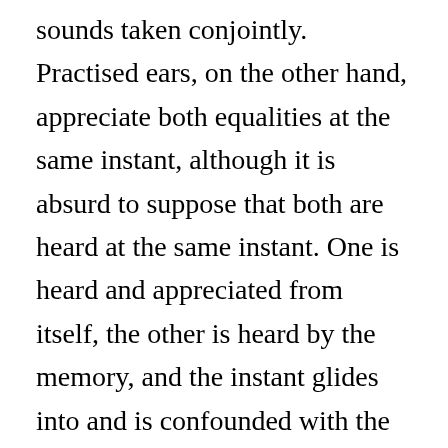sounds taken conjointly. Practised ears, on the other hand, appreciate both equalities at the same instant, although it is absurd to suppose that both are heard at the same instant. One is heard and appreciated from itself, the other is heard by the memory, and the instant glides into and is confounded with the secondary appreciation. Highly cultivated musical taste in this manner enjoys not only these double equalities, all appreciated at once, but takes pleasurable cognizance, through memory, of equalities the members of which occur at